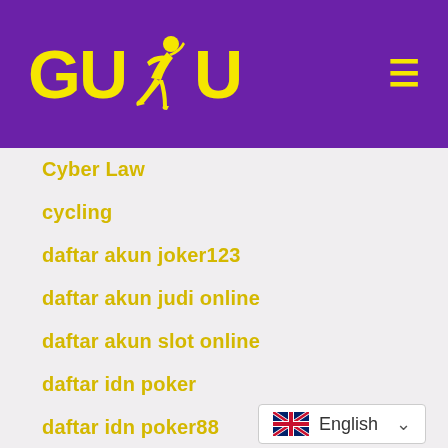[Figure (logo): GUDU logo with yellow text and runner silhouette on purple background, with hamburger menu icon]
Cyber Law
cycling
daftar akun joker123
daftar akun judi online
daftar akun slot online
daftar idn poker
daftar idn poker88
daftar idnplay poker
daftar idnplay terbaru
daftar joker123
daftar joker123 akun
daftar joker123 online
[Figure (other): Language selector widget showing UK flag and 'English' with dropdown chevron]